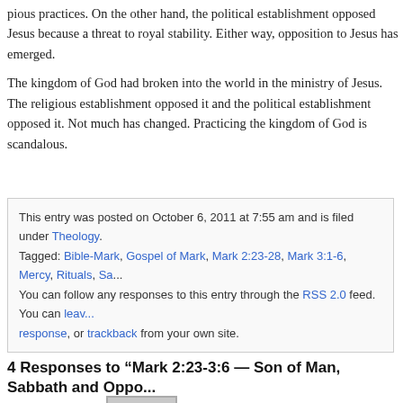pious practices. On the other hand, the political establishment opposed Jesus because a threat to royal stability. Either way, opposition to Jesus has emerged.
The kingdom of God had broken into the world in the ministry of Jesus. The religious establishment opposed it and the political establishment opposed it. Not much has changed. Practicing the kingdom of God is scandalous.
This entry was posted on October 6, 2011 at 7:55 am and is filed under Theology. Tagged: Bible-Mark, Gospel of Mark, Mark 2:23-28, Mark 3:1-6, Mercy, Rituals, Sa... You can follow any responses to this entry through the RSS 2.0 feed. You can leave a response, or trackback from your own site.
4 Responses to “Mark 2:23-3:6 — Son of Man, Sabbath and Oppo...
rich constant Says:
October 6th, 2011 at 10:13 am   Reply
? John mark
The word “destroy” has interested me sense i was a young man.
and “took council”